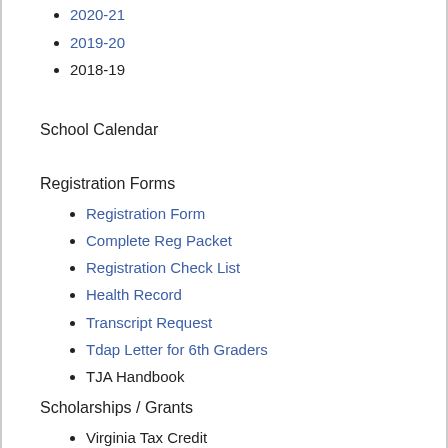2020-21
2019-20
2018-19
School Calendar
Registration Forms
Registration Form
Complete Reg Packet
Registration Check List
Health Record
Transcript Request
Tdap Letter for 6th Graders
TJA Handbook
Scholarships / Grants
Virginia Tax Credit
How it Works - Video
PCSDA Education Foundation
PFE - Southern Adventist University